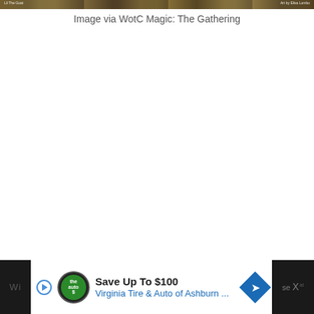[Figure (photo): Partial image strip from a Magic: The Gathering card art, showing a dark fantasy scene. Text overlays read 'Lil The Goat' on the left and 'Art by Elisa Lombo' on the right.]
Image via WotC Magic: The Gathering
[Figure (screenshot): Advertisement banner: Save Up To $100, Virginia Tire & Auto of Ashburn ... with The Auto logo and navigation icon. Dark sidebar areas flank the white ad content.]